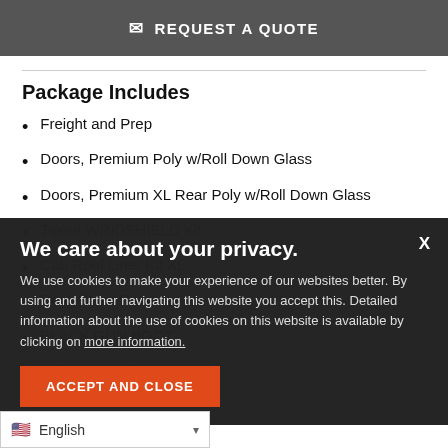REQUEST A QUOTE
Package Includes
Freight and Prep
Doors, Premium Poly w/Roll Down Glass
Doors, Premium XL Rear Poly w/Roll Down Glass
Tipout WINDSHIELD Kit
Cab Roof Liner Kit XL
Rear Glass Panel Kit
BLACK GUN BOOT
Cab Heater Kit
We care about your privacy. We use cookies to make your experience of our websites better. By using and further navigating this website you accept this. Detailed information about the use of cookies on this website is available by clicking on more information.
ACCEPT AND CLOSE
English